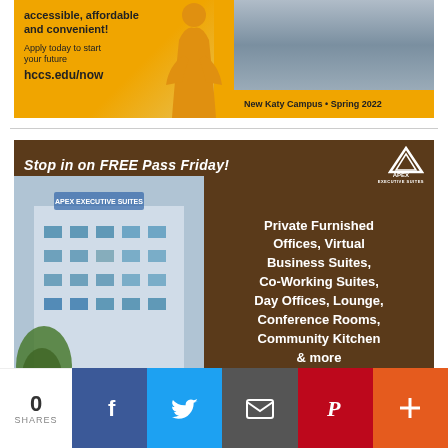[Figure (illustration): HCCS advertisement banner showing orange background with text 'accessible, affordable and convenient!', 'Apply today to start your future', 'hccs.edu/now', and badge reading 'New Katy Campus • Spring 2022' with photo of building]
[Figure (illustration): Apex Executive Suites advertisement on brown background. Headline: 'Stop in on FREE Pass Friday!', services listed: 'Private Furnished Offices, Virtual Business Suites, Co-Working Suites, Day Offices, Lounge, Conference Rooms, Community Kitchen & more'. Address: 25807 Westheimer Pkwy, Katy, TX 77494, 281.505.1106. Includes building photo and QR code.]
[Figure (infographic): Social sharing bar showing 0 SHARES, and buttons for Facebook, Twitter, Email, Pinterest, and More]